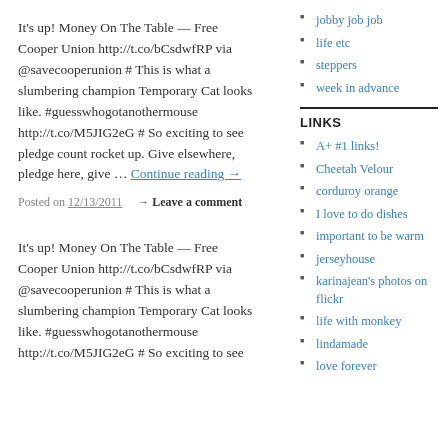It's up! Money On The Table — Free Cooper Union http://t.co/bCsdwfRP via @savecooperunion # This is what a slumbering champion Temporary Cat looks like. #guesswhogotanothermouse http://t.co/M5JIG2eG # So exciting to see pledge count rocket up. Give elsewhere, pledge here, give … Continue reading →
Posted on 12/13/2011  → Leave a comment
jobby job job
life etc
steppers
week in advance
LINKS
A+ #1 links!
Cheetah Velour
corduroy orange
I love to do dishes
important to be warm
jerseyhouse
karinajean's photos on flickr
life with monkey
lindamade
love forever
It's up! Money On The Table — Free Cooper Union http://t.co/bCsdwfRP via @savecooperunion # This is what a slumbering champion Temporary Cat looks like. #guesswhogotanothermouse http://t.co/M5JIG2eG # So exciting to see